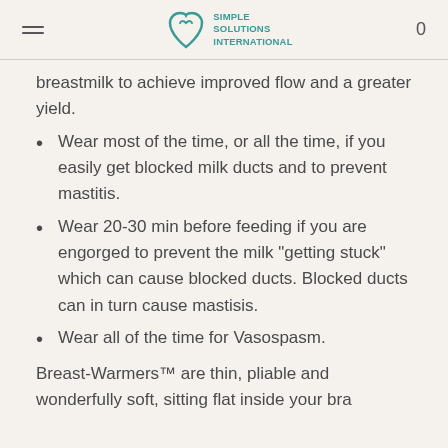Simple Solutions International
breastmilk to achieve improved flow and a greater yield.
Wear most of the time, or all the time, if you easily get blocked milk ducts and to prevent mastitis.
Wear 20-30 min before feeding if you are engorged to prevent the milk "getting stuck" which can cause blocked ducts. Blocked ducts can in turn cause mastisis.
Wear all of the time for Vasospasm.
Breast-Warmers™ are thin, pliable and wonderfully soft, sitting flat inside your bra